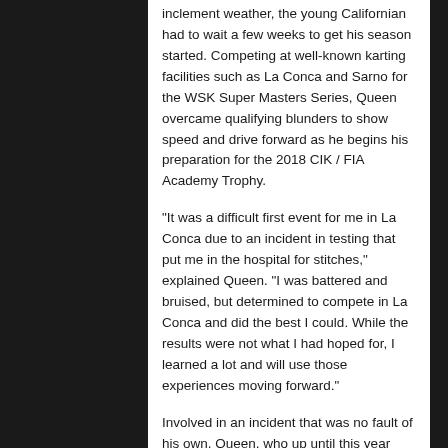inclement weather, the young Californian had to wait a few weeks to get his season started. Competing at well-known karting facilities such as La Conca and Sarno for the WSK Super Masters Series, Queen overcame qualifying blunders to show speed and drive forward as he begins his preparation for the 2018 CIK / FIA Academy Trophy.
“It was a difficult first event for me in La Conca due to an incident in testing that put me in the hospital for stitches,” explained Queen. “I was battered and bruised, but determined to compete in La Conca and did the best I could. While the results were not what I had hoped for, I learned a lot and will use those experiences moving forward.”
Involved in an incident that was no fault of his own, Queen, who up until this year had never raced outside the state of California